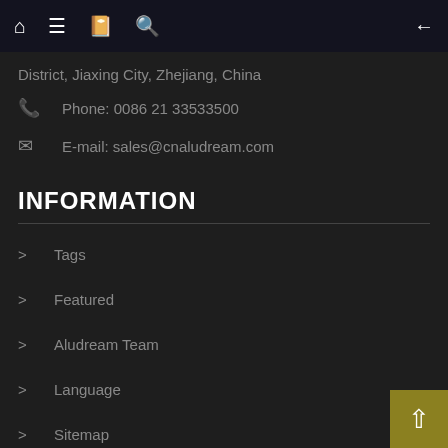Navigation bar with home, menu, book, search icons and back arrow
District, Jiaxing City, Zhejiang, China
Phone: 0086 21 33533500
E-mail: sales@cnaludream.com
INFORMATION
Tags
Featured
Aludream Team
Language
Sitemap
INQUIRY